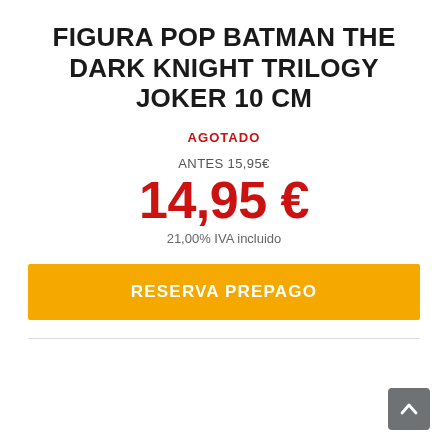FIGURA POP BATMAN THE DARK KNIGHT TRILOGY JOKER 10 CM
AGOTADO
ANTES 15,95€
14,95 €
21,00% IVA incluido
RESERVA PREPAGO